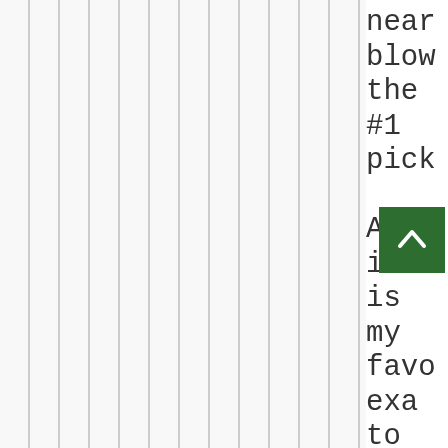[Figure (other): Vertical stripe pattern filling the left portion of the page, alternating light gray and white vertical lines]
near blow the #1 pick Also it is my favo exa to sho w but$ insa the 'You